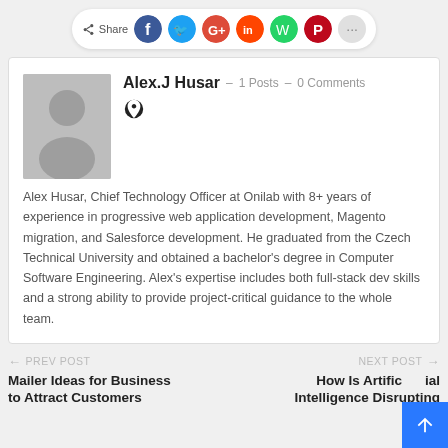[Figure (other): Social share bar with share label icon and colored circular social media icons (Facebook blue, Twitter cyan, Google+ red, Reddit orange, WhatsApp green, Pinterest red, and more button)]
Alex.J Husar – 1 Posts – 0 Comments
Alex Husar, Chief Technology Officer at Onilab with 8+ years of experience in progressive web application development, Magento migration, and Salesforce development. He graduated from the Czech Technical University and obtained a bachelor's degree in Computer Software Engineering. Alex's expertise includes both full-stack dev skills and a strong ability to provide project-critical guidance to the whole team.
← PREV POST
Mailer Ideas for Business to Attract Customers
NEXT POST →
How Is Artific… Intelligence Disrupting…